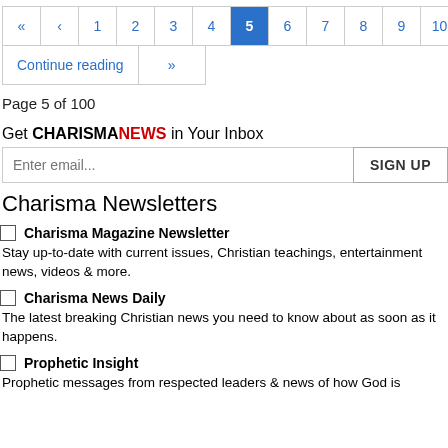[Figure (other): Pagination navigation bar with page numbers 1-10, first/prev arrows, current page 5 highlighted in blue, and a Continue reading link with next arrows]
Page 5 of 100
Get CHARISMANEWS in Your Inbox
Charisma Newsletters
Charisma Magazine Newsletter - Stay up-to-date with current issues, Christian teachings, entertainment news, videos & more.
Charisma News Daily - The latest breaking Christian news you need to know about as soon as it happens.
Prophetic Insight - Prophetic messages from respected leaders & news of how God is